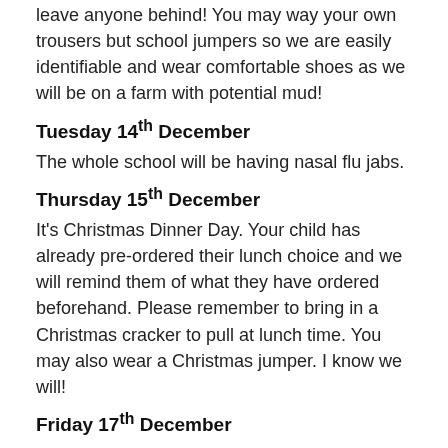leave anyone behind! You may way your own trousers but school jumpers so we are easily identifiable and wear comfortable shoes as we will be on a farm with potential mud!
Tuesday 14th December
The whole school will be having nasal flu jabs.
Thursday 15th December
It's Christmas Dinner Day. Your child has already pre-ordered their lunch choice and we will remind them of what they have ordered beforehand. Please remember to bring in a Christmas cracker to pull at lunch time. You may also wear a Christmas jumper. I know we will!
Friday 17th December
Our EYFS Christmas party will also take place on